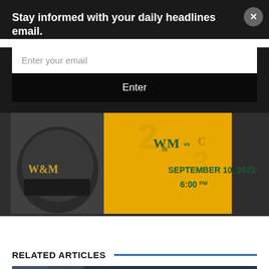Stay informed with your daily headlines email.
Enter your email
Enter
[Figure (photo): Sports advertisement showing a William & Mary football helmet on the left and a gold background with W&M vs C logos, SEPTEMBER 10, 2022, 6:00PM on the right]
RELATED ARTICLES
[Figure (photo): Bottom image strip, partially visible photo]